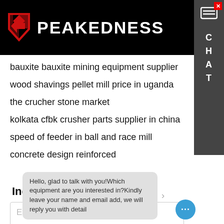PEAKEDNESS
bauxite bauxite mining equipment supplier
wood shavings pellet mill price in uganda
the crucher stone market
kolkata cfbk crusher parts supplier in china
speed of feeder in ball and race mill
concrete design reinforced
Inquiry
Enter Message
Hello, glad to talk with you!Which equipment are you interested in?Kindly leave your name and email add, we will reply you with detail